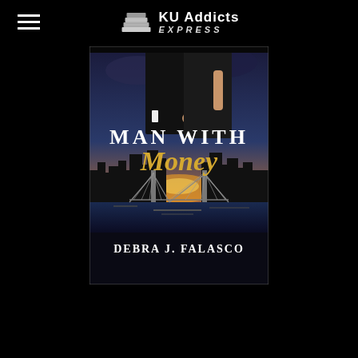KU Addicts EXPRESS
[Figure (illustration): Book cover for 'Man With Money' by Debra J. Falasco. Shows a man in a dark suit embracing a woman in a black dress against a city skyline at sunset with dramatic clouds. Text reads 'Man With Money' and 'Debra J. Falasco'.]